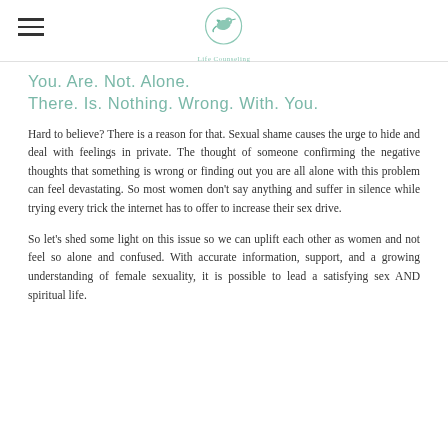[Figure (logo): Life Counseling logo — circular outline with a bird/hummingbird in teal/green, text 'Life Counseling' below]
You. Are. Not. Alone.
There. Is. Nothing. Wrong. With. You.
Hard to believe? There is a reason for that. Sexual shame causes the urge to hide and deal with feelings in private. The thought of someone confirming the negative thoughts that something is wrong or finding out you are all alone with this problem can feel devastating. So most women don't say anything and suffer in silence while trying every trick the internet has to offer to increase their sex drive.
So let's shed some light on this issue so we can uplift each other as women and not feel so alone and confused. With accurate information, support, and a growing understanding of female sexuality, it is possible to lead a satisfying sex AND spiritual life.